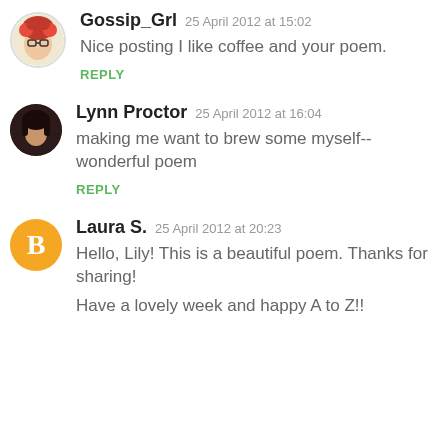Gossip_Grl 25 April 2012 at 15:02
Nice posting I like coffee and your poem.
REPLY
Lynn Proctor 25 April 2012 at 16:04
making me want to brew some myself--wonderful poem
REPLY
Laura S. 25 April 2012 at 20:23
Hello, Lily! This is a beautiful poem. Thanks for sharing!
Have a lovely week and happy A to Z!!